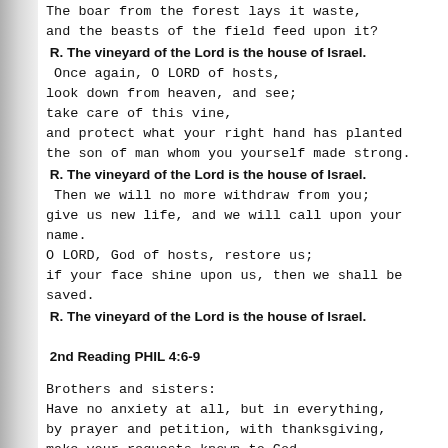The boar from the forest lays it waste,
and the beasts of the field feed upon it?
R. The vineyard of the Lord is the house of Israel.
Once again, O LORD of hosts,
look down from heaven, and see;
take care of this vine,
and protect what your right hand has planted
the son of man whom you yourself made strong.
R. The vineyard of the Lord is the house of Israel.
Then we will no more withdraw from you;
give us new life, and we will call upon your name.
O LORD, God of hosts, restore us;
if your face shine upon us, then we shall be saved.
R. The vineyard of the Lord is the house of Israel.
2nd Reading PHIL 4:6-9
Brothers and sisters:
Have no anxiety at all, but in everything,
by prayer and petition, with thanksgiving,
make your requests known to God.
Then the peace of God that surpasses all understanding
will guard your hearts and minds in Christ Jesus.